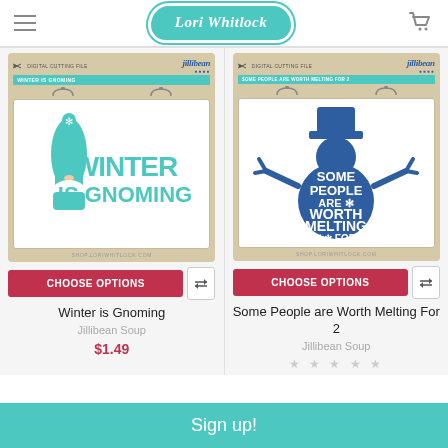Lori Whitlock
[Figure (photo): Product card: Jillibean Soup digital cutting file 'Winter is Gnoming' - teal gnome with 'WINTER IS GNOMING' text]
CHOOSE OPTIONS
Winter is Gnoming
Jillibean Soup
$1.49
[Figure (photo): Product card: Jillibean Soup digital cutting file 'Some People are Worth Melting For 2' - dark blue snowman silhouette]
CHOOSE OPTIONS
Some People are Worth Melting For 2
Jillibean Soup
★ ★ ★ ★ ★
Sign up!